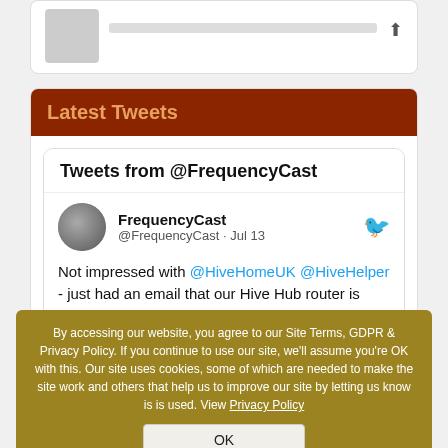[Figure (screenshot): Top card with a grey image thumbnail on the left and a horizontal grey bar, plus a share/upload icon on the right.]
Latest Tweets
Tweets from @FrequencyCast
FrequencyCast @FrequencyCast · Jul 13
Not impressed with @HiveHomeUK @HiveHelper - just had an email that our Hive Hub router is being phased out. Email states £30 to replace. Called the number to discover
By accessing our website, you agree to our Site Terms, GDPR & Privacy Policy. If you continue to use our site, we'll assume you're OK with this. Our site uses cookies, some of which are needed to make the site work and others that help us to improve our site by letting us know is is used. View Privacy Policy
OK